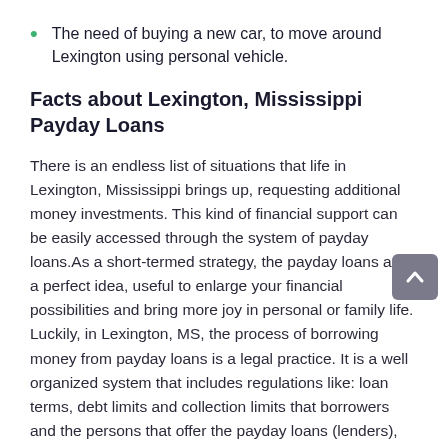The need of buying a new car, to move around Lexington using personal vehicle.
Facts about Lexington, Mississippi Payday Loans
There is an endless list of situations that life in Lexington, Mississippi brings up, requesting additional money investments. This kind of financial support can be easily accessed through the system of payday loans.As a short-termed strategy, the payday loans are a perfect idea, useful to enlarge your financial possibilities and bring more joy in personal or family life. Luckily, in Lexington, MS, the process of borrowing money from payday loans is a legal practice. It is a well organized system that includes regulations like: loan terms, debt limits and collection limits that borrowers and the persons that offer the payday loans (lenders), should know: